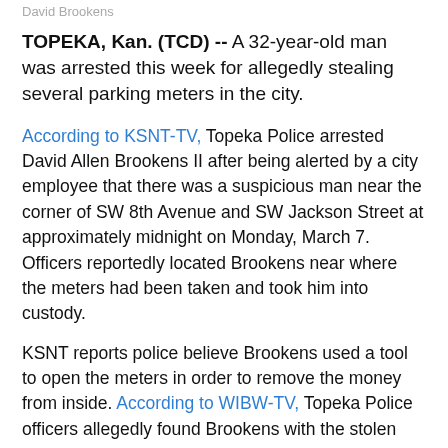David Brookens
TOPEKA, Kan. (TCD) -- A 32-year-old man was arrested this week for allegedly stealing several parking meters in the city.
According to KSNT-TV, Topeka Police arrested David Allen Brookens II after being alerted by a city employee that there was a suspicious man near the corner of SW 8th Avenue and SW Jackson Street at approximately midnight on Monday, March 7. Officers reportedly located Brookens near where the meters had been taken and took him into custody.
KSNT reports police believe Brookens used a tool to open the meters in order to remove the money from inside. According to WIBW-TV, Topeka Police officers allegedly found Brookens with the stolen meters.
Shawnee County Jail records show Brookens was booked on counts of theft $25,000 < $100,000 of coin-operated machine or device, aggravated criminal damage greater than $5,000 with intent to deprive...